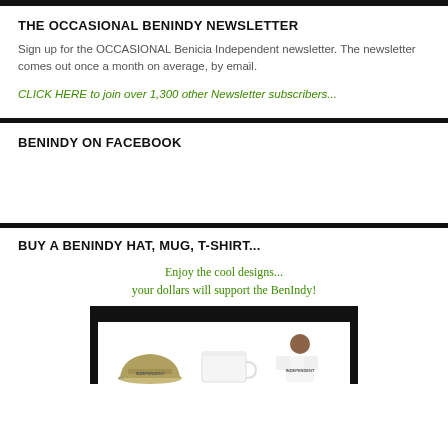THE OCCASIONAL BENINDY NEWSLETTER
Sign up for the OCCASIONAL Benicia Independent newsletter. The newsletter comes out once a month on average, by email.
CLICK HERE to join over 1,300 other Newsletter subscribers...
BENINDY ON FACEBOOK
BUY A BENINDY HAT, MUG, T-SHIRT...
Enjoy the cool designs...
your dollars will support the BenIndy!
[Figure (photo): Three merchandise items: a tan/olive baseball cap with INDEPENDENT text, a white mug, and a person wearing a white t-shirt with INDEPENDENT text, shown against a black banner background.]